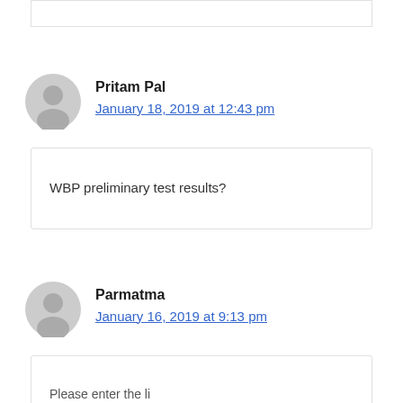Pritam Pal
January 18, 2019 at 12:43 pm
WBP preliminary test results?
Parmatma
January 16, 2019 at 9:13 pm